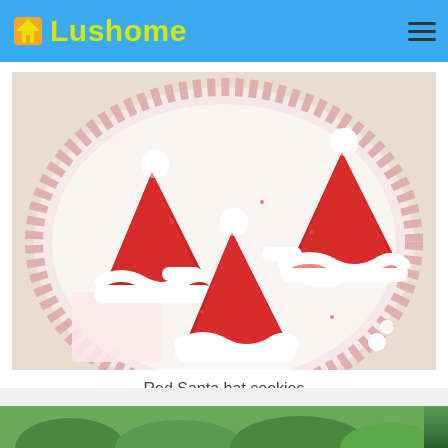Lushome
[Figure (photo): Red Santa hat shaped cookies decorated with white icing and red sugar sprinkles, arranged on a round pink and white striped plate]
Red Santa hat cookies
[Figure (photo): Partially visible second image at the bottom, showing green foliage]